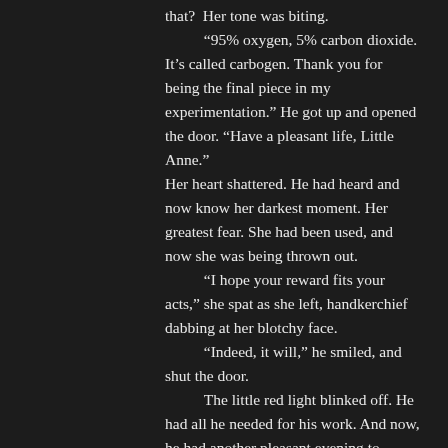that? Her tone was biting.
“95% oxygen, 5% carbon dioxide. It’s called carbogen. Thank you for being the final piece in my experimentation.” He got up and opened the door. “Have a pleasant life, Little Anne.”
Her heart shattered. He had heard and now know her darkest moment. Her greatest fear. She had been used, and now she was being thrown out.
“I hope your reward fits your acts,” she spat as she left, handkerchief dabbing at her blotchy face.
“Indeed, it will,” he smiled, and shut the door.
The little red light blinked off. He had all he needed for his work. And now, he had another pleasant evening to enjoy.